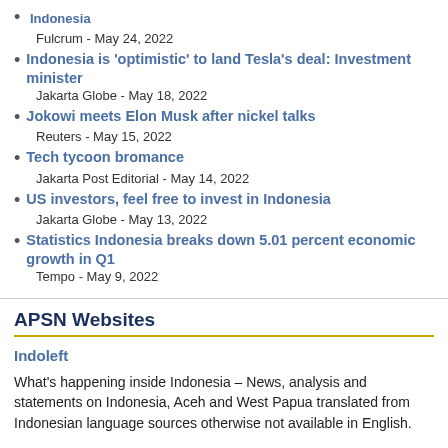Indonesia - Fulcrum - May 24, 2022
Indonesia is 'optimistic' to land Tesla's deal: Investment minister - Jakarta Globe - May 18, 2022
Jokowi meets Elon Musk after nickel talks - Reuters - May 15, 2022
Tech tycoon bromance - Jakarta Post Editorial - May 14, 2022
US investors, feel free to invest in Indonesia - Jakarta Globe - May 13, 2022
Statistics Indonesia breaks down 5.01 percent economic growth in Q1 - Tempo - May 9, 2022
APSN Websites
Indoleft
What's happening inside Indonesia – News, analysis and statements on Indonesia, Aceh and West Papua translated from Indonesian language sources otherwise not available in English.